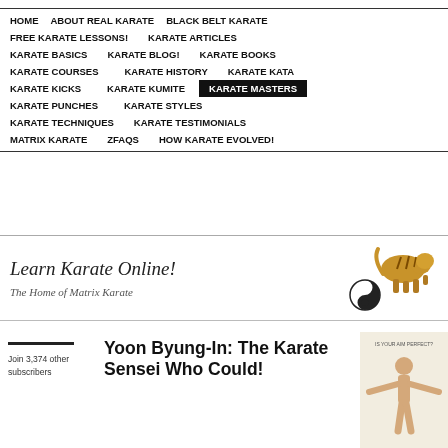HOME
ABOUT REAL KARATE
BLACK BELT KARATE
FREE KARATE LESSONS!
KARATE ARTICLES
KARATE BASICS
KARATE BLOG!
KARATE BOOKS
KARATE COURSES
KARATE HISTORY
KARATE KATA
KARATE KICKS
KARATE KUMITE
KARATE MASTERS
KARATE PUNCHES
KARATE STYLES
KARATE TECHNIQUES
KARATE TESTIMONIALS
MATRIX KARATE
ZFAQS
HOW KARATE EVOLVED!
[Figure (illustration): Learn Karate Online! banner with tiger illustration and yin-yang symbol. Text: Learn Karate Online! The Home of Matrix Karate]
Join 3,374 other subscribers
Yoon Byung-In: The Karate Sensei Who Could!
[Figure (photo): Person with arms outstretched, text above reading IS YOUR AIM PERFECT?]